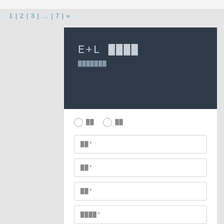1 | 2 | 3 | ... | 7 | »
E+L ████ ███████
○ ██  ○ ██
██*
██*
██*
████*